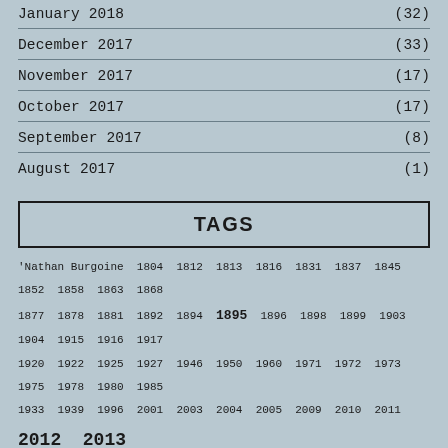January 2018  (32)
December 2017  (33)
November 2017  (17)
October 2017  (17)
September 2017  (8)
August 2017  (1)
TAGS
'Nathan Burgoine  1804  1812  1813  1816  1831  1837  1845  1852  1858  1863  1868  1877  1878  1881  1892  1894  1895  1896  1898  1899  1903  1904  1915  1916  1917  1920  1922  1925  1927  1946  1950  1960  1971  1972  1973  1975  1978  1980  1985  1933  1939  1996  2001  2003  2004  2005  2009  2010  2011  2012  2013